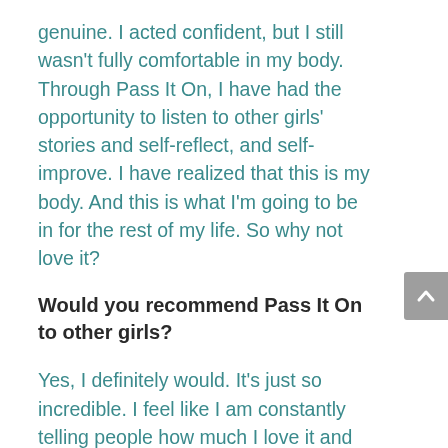genuine. I acted confident, but I still wasn't fully comfortable in my body. Through Pass It On, I have had the opportunity to listen to other girls' stories and self-reflect, and self-improve. I have realized that this is my body. And this is what I'm going to be in for the rest of my life. So why not love it?
Would you recommend Pass It On to other girls?
Yes, I definitely would. It's just so incredible. I feel like I am constantly telling people how much I love it and how much it has helped me. It opens your mind to many different perspectives and shows you different sides of yourself. And it's also the program itself. Having a space for young people to be together and collaborate is important. It is so